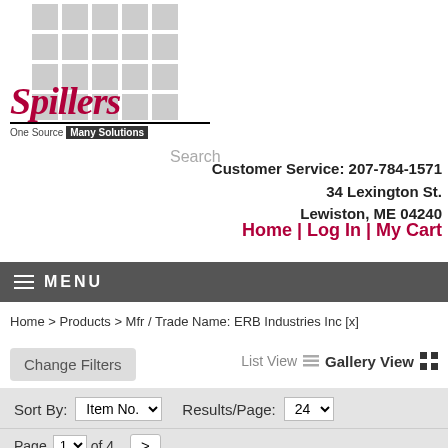[Figure (logo): Spiller's logo with grid squares background and tagline 'One Source Many Solutions']
Search
Customer Service: 207-784-1571
34 Lexington St.
Lewiston, ME 04240
Home | Log In | My Cart
≡ MENU
Home > Products > Mfr / Trade Name: ERB Industries Inc [x]
Change Filters
List View  Gallery View
Sort By: Item No.   Results/Page: 24
Page 1 of 4   >